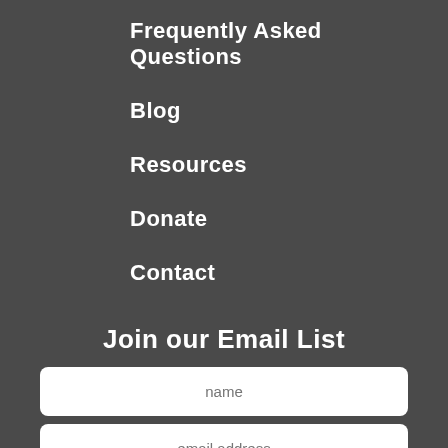Frequently Asked Questions
Blog
Resources
Donate
Contact
Join our Email List
name
email address
SUBMIT
Follow us on Facebook